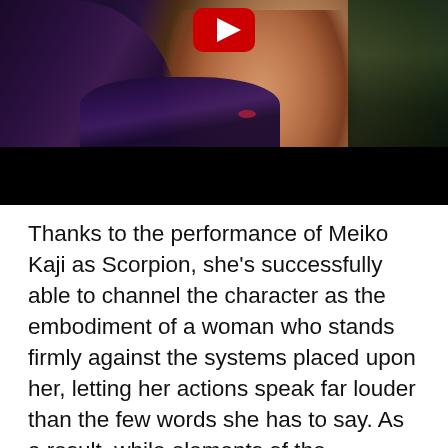[Figure (photo): A close-up photo of a woman (Meiko Kaji) in what appears to be a Japanese film still, wearing dark clothing. Her face is in profile/three-quarter view. A YouTube play button icon is overlaid at the top center of the image. The bottom portion of the thumbnail is a black bar.]
Thanks to the performance of Meiko Kaji as Scorpion, she's successfully able to channel the character as the embodiment of a woman who stands firmly against the systems placed upon her, letting her actions speak far louder than the few words she has to say. As a result, while elements of the sexualized nature of the film were clearly created with the male gaze in mind